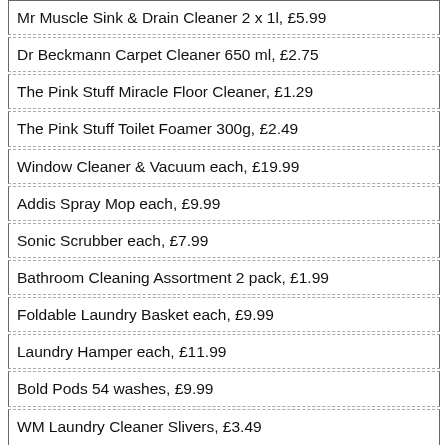Mr Muscle Sink & Drain Cleaner 2 x 1l, £5.99
Dr Beckmann Carpet Cleaner 650 ml, £2.75
The Pink Stuff Miracle Floor Cleaner, £1.29
The Pink Stuff Toilet Foamer 300g, £2.49
Window Cleaner & Vacuum each, £19.99
Addis Spray Mop each, £9.99
Sonic Scrubber each, £7.99
Bathroom Cleaning Assortment 2 pack, £1.99
Foldable Laundry Basket each, £9.99
Laundry Hamper each, £11.99
Bold Pods 54 washes, £9.99
WM Laundry Cleaner Slivers, £3.49